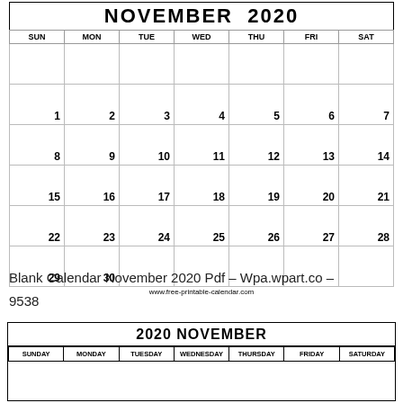NOVEMBER 2020
| SUN | MON | TUE | WED | THU | FRI | SAT |
| --- | --- | --- | --- | --- | --- | --- |
|  |  |  |  |  |  |  |
| 1 | 2 | 3 | 4 | 5 | 6 | 7 |
| 8 | 9 | 10 | 11 | 12 | 13 | 14 |
| 15 | 16 | 17 | 18 | 19 | 20 | 21 |
| 22 | 23 | 24 | 25 | 26 | 27 | 28 |
| 29 | 30 |  |  |  |  |  |
www.free-printable-calendar.com
Blank Calendar November 2020 Pdf – Wpa.wpart.co –
9538
2020 NOVEMBER
| SUNDAY | MONDAY | TUESDAY | WEDNESDAY | THURSDAY | FRIDAY | SATURDAY |
| --- | --- | --- | --- | --- | --- | --- |